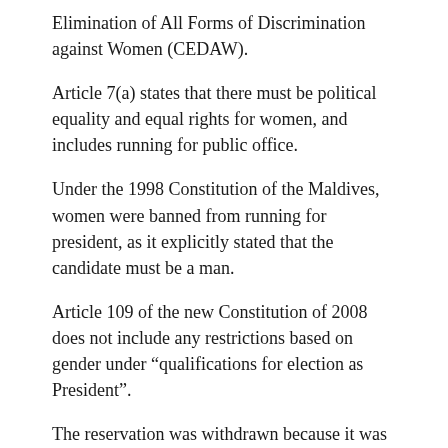Elimination of All Forms of Discrimination against Women (CEDAW).
Article 7(a) states that there must be political equality and equal rights for women, and includes running for public office.
Under the 1998 Constitution of the Maldives, women were banned from running for president, as it explicitly stated that the candidate must be a man.
Article 109 of the new Constitution of 2008 does not include any restrictions based on gender under “qualifications for election as President”.
The reservation was withdrawn because it was deemed contradictory to the new Constitution.
Change and improvement